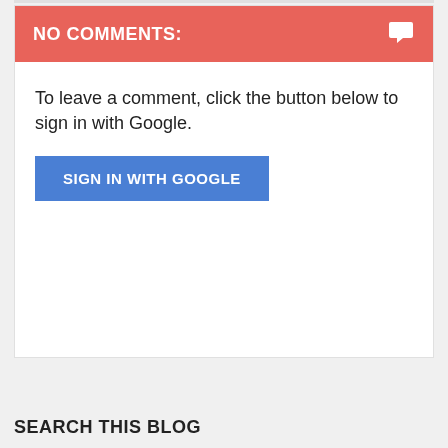NO COMMENTS:
To leave a comment, click the button below to sign in with Google.
SIGN IN WITH GOOGLE
SEARCH THIS BLOG